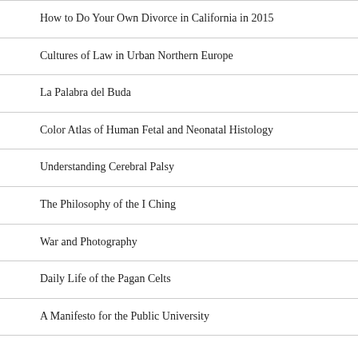How to Do Your Own Divorce in California in 2015
Cultures of Law in Urban Northern Europe
La Palabra del Buda
Color Atlas of Human Fetal and Neonatal Histology
Understanding Cerebral Palsy
The Philosophy of the I Ching
War and Photography
Daily Life of the Pagan Celts
A Manifesto for the Public University